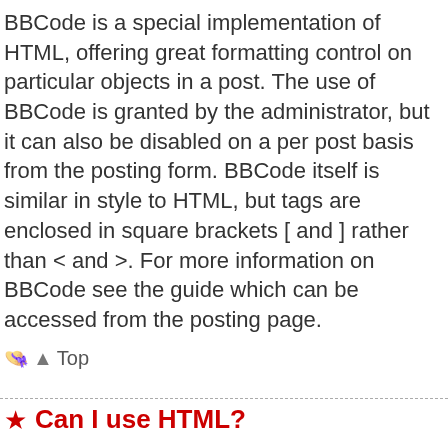BBCode is a special implementation of HTML, offering great formatting control on particular objects in a post. The use of BBCode is granted by the administrator, but it can also be disabled on a per post basis from the posting form. BBCode itself is similar in style to HTML, but tags are enclosed in square brackets [ and ] rather than < and >. For more information on BBCode see the guide which can be accessed from the posting page.
Top
Can I use HTML?